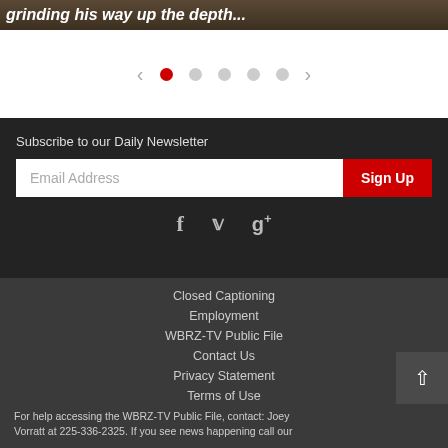[Figure (screenshot): Hero image strip showing partial text 'grinding his way up the depth...' in bold italic white text on a dark brownish background]
[Figure (other): Carousel navigation with left arrow, one active red dot, four grey dots, and right arrow on white background]
Subscribe to our Daily Newsletter
[Figure (other): Email subscription form with Email Address input field and red Sign Up button]
[Figure (other): Social media icons: Facebook, Twitter, Google+]
Closed Captioning
Employment
WBRZ-TV Public File
Contact Us
Privacy Statement
Terms of Use
For help accessing the WBRZ-TV Public File, contact: Joey Vorratt at 225-336-2325. If you see news happening call our